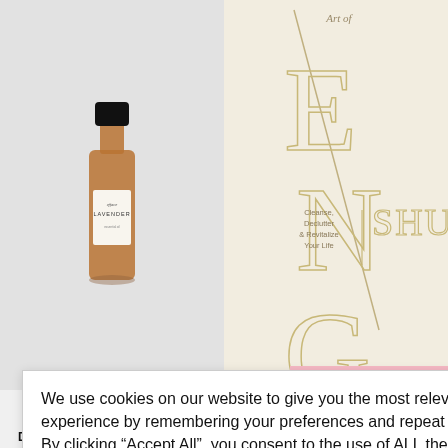[Figure (photo): Amber glass essential oil bottle with black cap and white label reading 'LAVENDER' on light grey background]
[Figure (photo): Book cover for 'The Art of Feng Shui - Cleanse, Declutter & Revitalize Your Life' on beige/cream background with large stylized letters E, N, G and diagonal lines]
NG ART OF I
.73
e /* */
We use cookies on our website to give you the most relevant experience by remembering your preferences and repeat visits. By clicking "Accept All", you consent to the use of ALL the cookies. However, you may visit "Cookie Settings" to provide a controlled consent.
Cookie Settings
Accept All
Sale!
Star
DARK ♥ YOGA